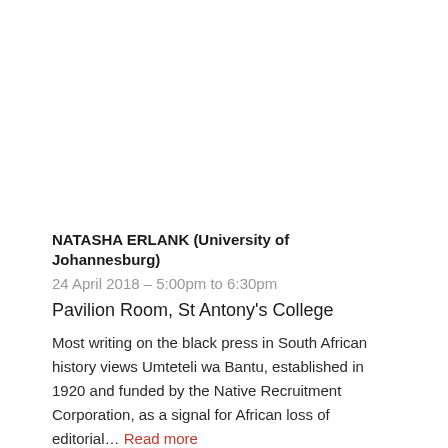NATASHA ERLANK (University of Johannesburg)
24 April 2018 – 5:00pm to 6:30pm
Pavilion Room, St Antony's College
Most writing on the black press in South African history views Umteteli wa Bantu, established in 1920 and funded by the Native Recruitment Corporation, as a signal for African loss of editorial… Read more